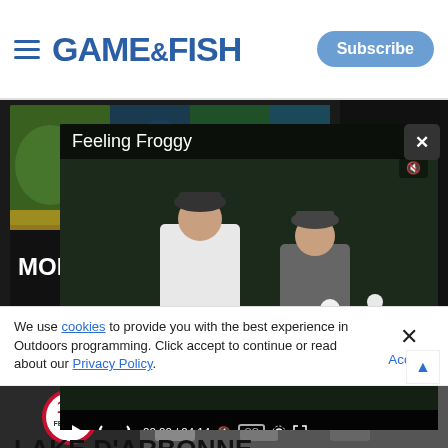GAME&FISH | Subscribe
[Figure (screenshot): Game & Fish website screenshot showing a video overlay titled 'Feeling Froggy' with two people fishing, overlaid on a duck hunting advertisement image showing 'MORE', 'ALL SEAS', '30% BIS', '70% S'. Video controls show 00:00 / 04:14.]
LAKE D'ARBONNE
We use cookies to provide you with the best experience in Outdoors programming. Click accept to continue or read about our Privacy Policy.
[Figure (photo): Federal 100 anniversary logo advertisement banner with black and white photos of people in background]